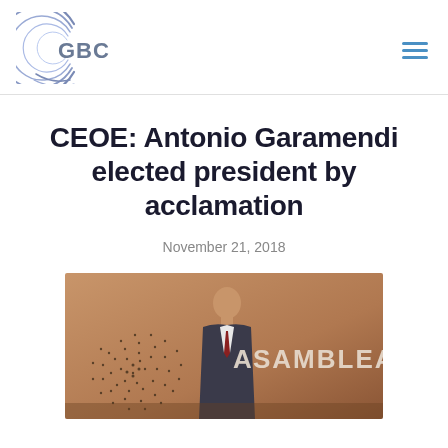GBC logo and navigation menu
CEOE: Antonio Garamendi elected president by acclamation
November 21, 2018
[Figure (photo): Man standing at a podium in front of a backdrop reading 'ASAMBLEA' with a decorative dot pattern logo on the left side]